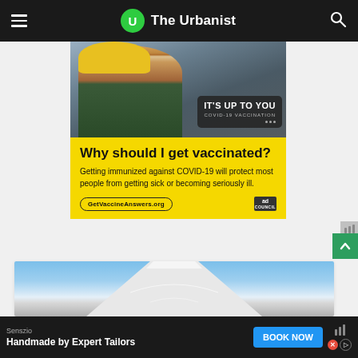The Urbanist
[Figure (photo): Advertisement: Man in yellow hard hat and safety glasses with text 'IT'S UP TO YOU - COVID-19 VACCINATION' overlaid on dark background]
Why should I get vaccinated?
Getting immunized against COVID-19 will protect most people from getting sick or becoming seriously ill.
GetVaccineAnswers.org
[Figure (photo): Snow-capped mountain (appears to be Mount Fuji or similar) against blue sky]
Senszio
Handmade by Expert Tailors
BOOK NOW